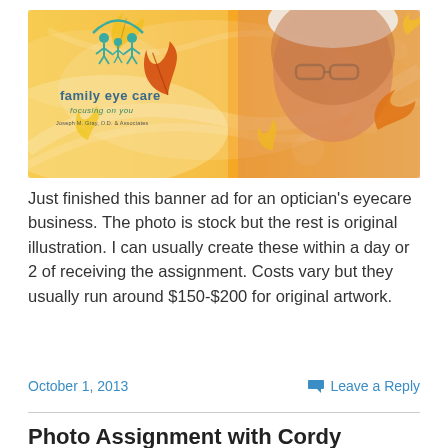[Figure (illustration): Banner ad for Family Eye Care optician business. Orange/yellow autumn theme with maple leaves, a smiling woman wearing glasses and a white knit hat, and the Family Eye Care logo with text 'focusing on you / Joseph M. Gray, O.D. & Associates']
Just finished this banner ad for an optician's eyecare business. The photo is stock but the rest is original illustration. I can usually create these within a day or 2 of receiving the assignment. Costs vary but they usually run around $150-$200 for original artwork.
October 1, 2013   Leave a Reply
Photo Assignment with Cordy